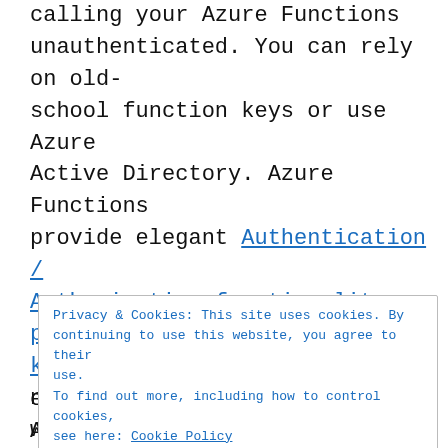calling your Azure Functions unauthenticated. You can rely on old-school function keys or use Azure Active Directory. Azure Functions provide elegant Authentication / Authorization functionality previous known as Easy Auth which works nicely with Azure API Management.
Privacy & Cookies: This site uses cookies. By continuing to use this website, you agree to their use.
To find out more, including how to control cookies, see here: Cookie Policy
Close and accept
enable Authentication / Authorization